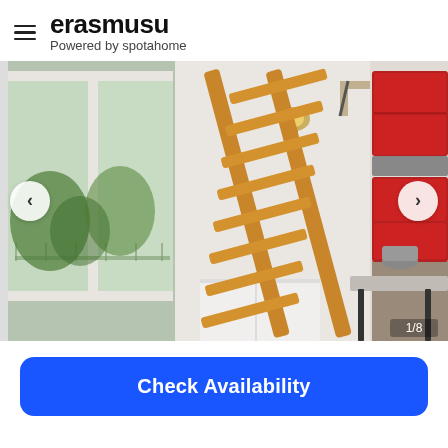erasmusu — Powered by spotahome
[Figure (photo): Interior photo of a studio apartment showing a wooden loft ladder leaning against the wall, large white-framed window with balcony view, wall-mounted lamp, white storage shelves, and a red kitchen area with appliances and a marble-top table.]
Check Availability